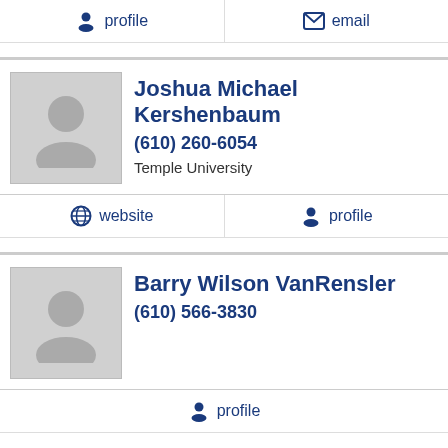profile
email
Joshua Michael Kershenbaum
(610) 260-6054
Temple University
website
profile
Barry Wilson VanRensler
(610) 566-3830
profile
NEXT